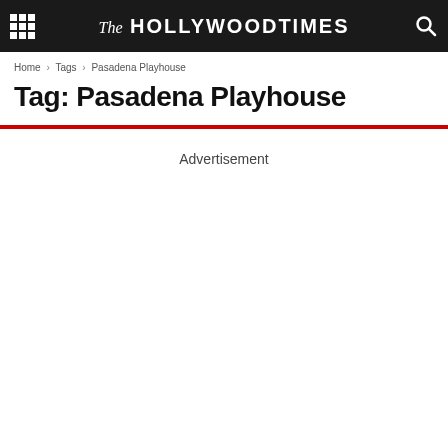The Hollywood Times
Home › Tags › Pasadena Playhouse
Tag: Pasadena Playhouse
Advertisement